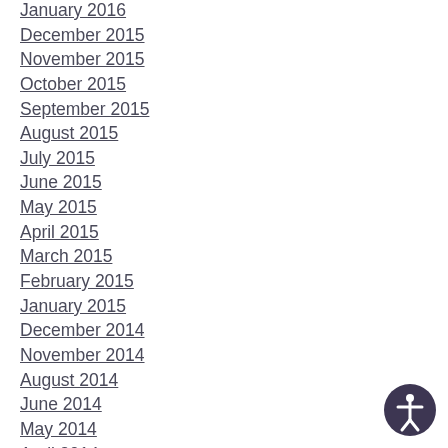January 2016
December 2015
November 2015
October 2015
September 2015
August 2015
July 2015
June 2015
May 2015
April 2015
March 2015
February 2015
January 2015
December 2014
November 2014
August 2014
June 2014
May 2014
April 2014
[Figure (illustration): Accessibility icon — circular button with white human figure (person with arms outstretched) on dark purple/navy background]